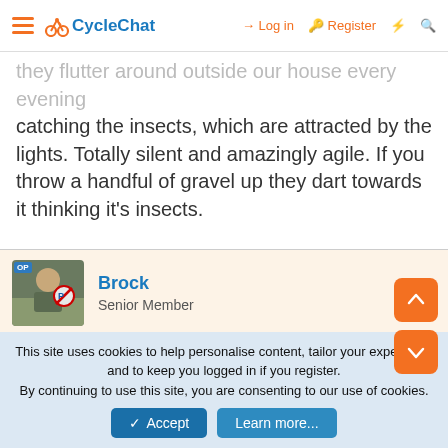CycleChat — Log in | Register
catching the insects, which are attracted by the lights. Totally silent and amazingly agile. If you throw a handful of gravel up they dart towards it thinking it's insects.
Brock
Senior Member
1 Aug 2007   #11
snap555 said:
This site uses cookies to help personalise content, tailor your experience and to keep you logged in if you register.
By continuing to use this site, you are consenting to our use of cookies.